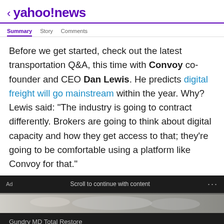< yahoo!news
Before we get started, check out the latest transportation Q&A, this time with Convoy co-founder and CEO Dan Lewis. He predicts digital freight will go mainstream within the year. Why? Lewis said: "The industry is going to contract differently. Brokers are going to think about digital capacity and how they get access to that; they're going to be comfortable using a platform like Convoy for that."
Ad   Scroll to continue with content   ...
[Figure (photo): Advertisement image strip showing partial food/oatmeal photo]
Gundry MD Total Restore
If You Eat Oatmeal Every Day, This Is What